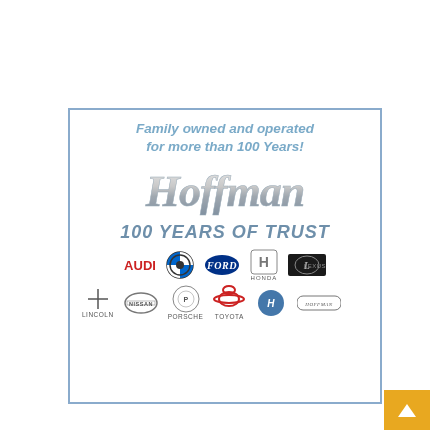[Figure (logo): Hoffman Auto Group advertisement. Text: 'Family owned and operated for more than 100 Years!' with Hoffman cursive logo, '100 YEARS OF TRUST' tagline, and logos for Audi, BMW, Ford, Honda, Lexus, Lincoln, Nissan, Porsche, Toyota, Hoffman Kia, Hoffman collision center.]